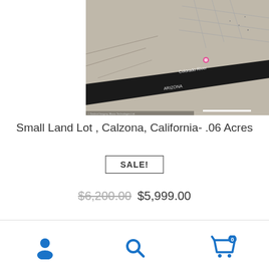[Figure (map): Aerial/satellite map view of Calzona, California area near the Colorado River, showing desert terrain, roads, and the river with Arizona label]
Small Land Lot , Calzona, California- .06 Acres
SALE!
$6,200.00  $5,999.00